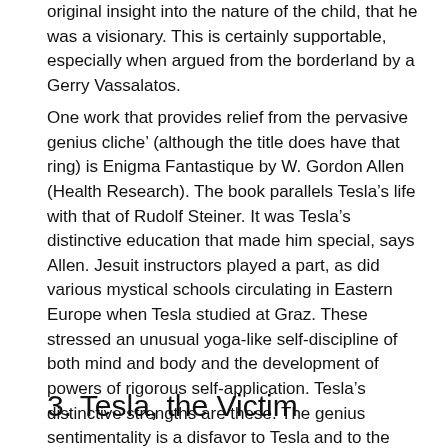original insight into the nature of the child, that he was a visionary. This is certainly supportable, especially when argued from the borderland by a Gerry Vassalatos.
One work that provides relief from the pervasive genius cliche’ (although the title does have that ring) is Enigma Fantastique by W. Gordon Allen (Health Research). The book parallels Tesla’s life with that of Rudolf Steiner. It was Tesla’s distinctive education that made him special, says Allen. Jesuit instructors played a part, as did various mystical schools circulating in Eastern Europe when Tesla studied at Graz. These stressed an unusual yoga-like self-discipline of both mind and body and the development of powers of rigorous self-application. Tesla’s distinctive strengths are these. The genius sentimentality is a disfavor to Tesla and to the concept of human potential in general.
3. Tesla, the Victim